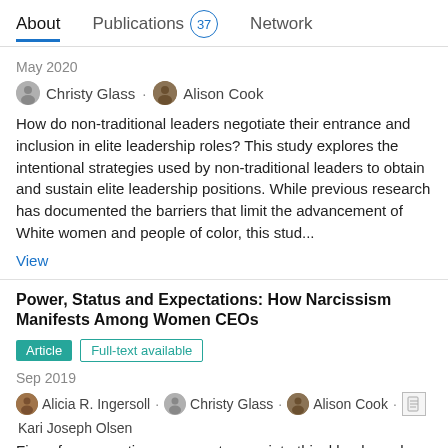About  Publications 37  Network
May 2020
Christy Glass · Alison Cook
How do non-traditional leaders negotiate their entrance and inclusion in elite leadership roles? This study explores the intentional strategies used by non-traditional leaders to obtain and sustain elite leadership positions. While previous research has documented the barriers that limit the advancement of White women and people of color, this stud...
View
Power, Status and Expectations: How Narcissism Manifests Among Women CEOs
Article  Full-text available
Sep 2019
Alicia R. Ingersoll · Christy Glass · Alison Cook · Kari Joseph Olsen
Firms face mounting pressure to appoint ethical leaders who will